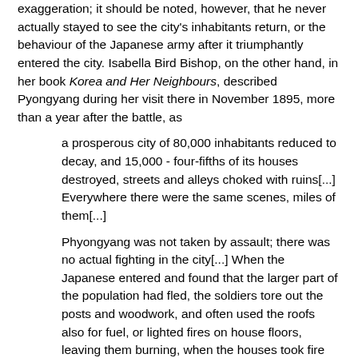exaggeration; it should be noted, however, that he never actually stayed to see the city's inhabitants return, or the behaviour of the Japanese army after it triumphantly entered the city. Isabella Bird Bishop, on the other hand, in her book Korea and Her Neighbours, described Pyongyang during her visit there in November 1895, more than a year after the battle, as
a prosperous city of 80,000 inhabitants reduced to decay, and 15,000 - four-fifths of its houses destroyed, streets and alleys choked with ruins[...] Everywhere there were the same scenes, miles of them[...]
Phyongyang was not taken by assault; there was no actual fighting in the city[...] When the Japanese entered and found that the larger part of the population had fled, the soldiers tore out the posts and woodwork, and often used the roofs also for fuel, or lighted fires on house floors, leaving them burning, when the houses took fire and perished. They looted property left by the fugitives during three weeks after the battle.